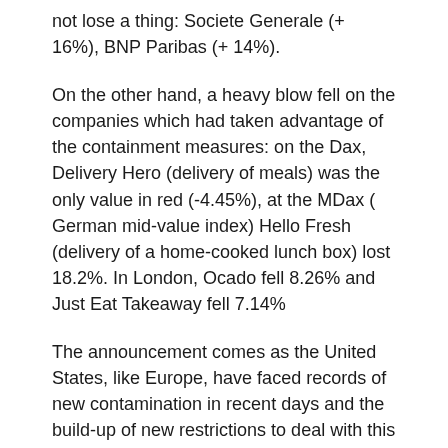not lose a thing: Societe Generale (+ 16%), BNP Paribas (+ 14%).
On the other hand, a heavy blow fell on the companies which had taken advantage of the containment measures: on the Dax, Delivery Hero (delivery of meals) was the only value in red (-4.45%), at the MDax ( German mid-value index) Hello Fresh (delivery of a home-cooked lunch box) lost 18.2%. In London, Ocado fell 8.26% and Just Eat Takeaway fell 7.14%
The announcement comes as the United States, like Europe, have faced records of new contamination in recent days and the build-up of new restrictions to deal with this second wave could seriously hinder the economic recovery.